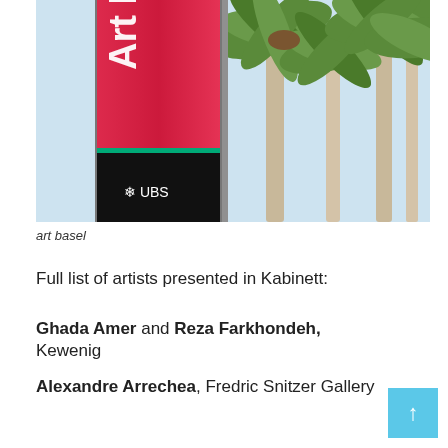[Figure (photo): Photo of an Art Basel banner sign on a pole with UBS branding, palm trees in background against a blue sky]
art basel
Full list of artists presented in Kabinett:
Ghada Amer and Reza Farkhondeh, Kewenig
Alexandre Arrechea, Fredric Snitzer Gallery